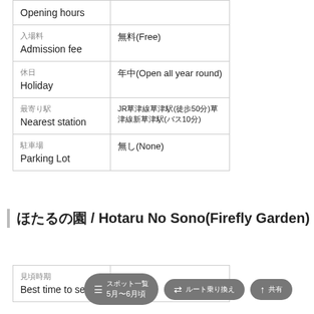| Label | Value |
| --- | --- |
| Opening hours |  |
| 入場料
Admission fee | 無料(Free) |
| 休日
Holiday | 年中(Open all year round) |
| 最寄り駅
Nearest station | JR草津線草津駅(徒歩50分)草津線新草津駅(バス10分) |
| 駐車場
Parking Lot | 無し(None) |
ほたるの園 / Hotaru No Sono(Firefly Garden)
| Label | Value |
| --- | --- |
| 見頃時期
Best time to see | 5月〜6月頃 |